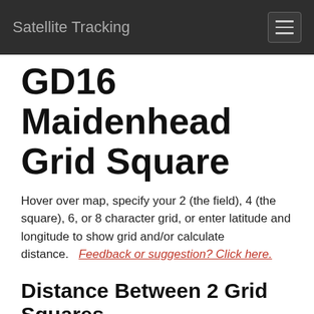Satellite Tracking
GD16 Maidenhead Grid Square
Hover over map, specify your 2 (the field), 4 (the square), 6, or 8 character grid, or enter latitude and longitude to show grid and/or calculate distance. Feedback or suggestion? Click here.
Distance Between 2 Grid Squares
Grid #1 [input]
Grid #2 [input]
Find Distance (by grids)
Find Grid by Latitude & Longitude
Latitude #1 [input]